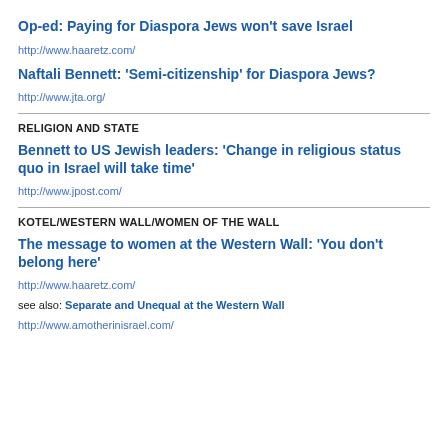Op-ed: Paying for Diaspora Jews won't save Israel
http://www.haaretz.com/
Naftali Bennett: 'Semi-citizenship' for Diaspora Jews?
http://www.jta.org/
RELIGION AND STATE
Bennett to US Jewish leaders: 'Change in religious status quo in Israel will take time'
http://www.jpost.com/
KOTEL/WESTERN WALL/WOMEN OF THE WALL
The message to women at the Western Wall: 'You don't belong here'
http://www.haaretz.com/
see also: Separate and Unequal at the Western Wall
http://www.amotherinisrael.com/